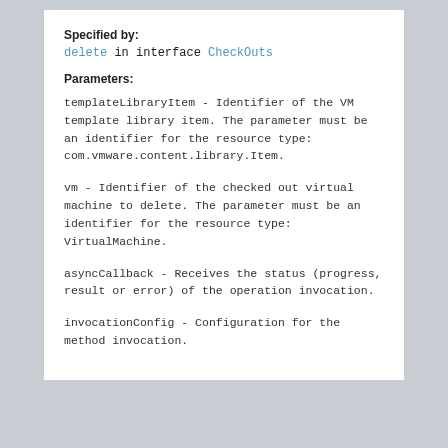Specified by:
delete in interface CheckOuts
Parameters:
templateLibraryItem - Identifier of the VM template library item. The parameter must be an identifier for the resource type: com.vmware.content.library.Item.
vm - Identifier of the checked out virtual machine to delete. The parameter must be an identifier for the resource type: VirtualMachine.
asyncCallback - Receives the status (progress, result or error) of the operation invocation.
invocationConfig - Configuration for the method invocation.